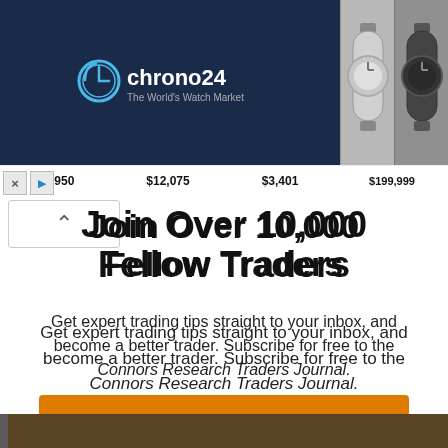[Figure (screenshot): Chrono24 advertisement banner showing luxury watches with prices: $8,950, $12,075, $3,401, $199,999]
Join Over 10,000 Fellow Traders
Get expert trading tips straight to your inbox, and become a better trader. Subscribe for free to the Connors Research Traders Journal.
[Figure (other): Orange CTA button labeled GET MY FREE NEWSLETTER]